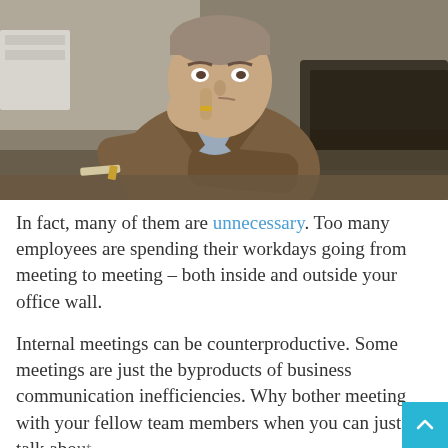[Figure (photo): A man in a brown suit sitting at a table, resting his chin and cheek on his hand in a bored or tired pose, with a couch visible in the background.]
In fact, many of them are unnecessary. Too many employees are spending their workdays going from meeting to meeting – both inside and outside your office wall.
Internal meetings can be counterproductive. Some meetings are just the byproducts of business communication inefficiencies. Why bother meeting with your fellow team members when you can just talk about the same issues using various collaboration tools like